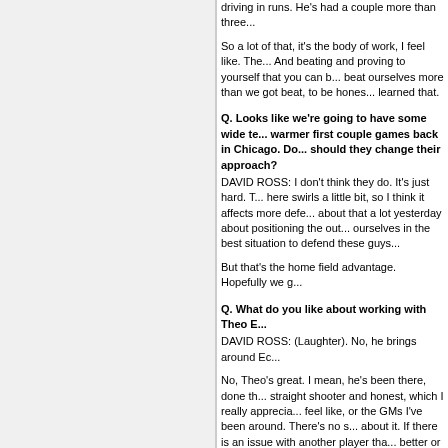driving in runs. He's had a couple more than three...
So a lot of that, it's the body of work, I feel like. The... And beating and proving to yourself that you can b... beat ourselves more than we got beat, to be hones... learned that.
Q. Looks like we're going to have some wide te... warmer first couple games back in Chicago. Do... should they change their approach? DAVID ROSS: I don't think they do. It's just hard. T... here swirls a little bit, so I think it affects more defe... about that a lot yesterday about positioning the out... ourselves in the best situation to defend these guys...
But that's the home field advantage. Hopefully we g...
Q. What do you like about working with Theo E... DAVID ROSS: (Laughter). No, he brings around Ec...
No, Theo's great. I mean, he's been there, done th... straight shooter and honest, which I really apprecia... feel like, or the GMs I've been around. There's no s... about it. If there is an issue with another player tha... better or their stats, he'll come talk to me as a catch... coming up and how he's had success in the Minor... communication for me.
One thing he told me when I was over in Boston w... with me and told me what Cincinnati thought about... or person. But it made me realize that you're alway... good at night, I needed to do everything I possibly... career changer for me, to be honest with you. Thos... the decisions, to be honest with you, that's importa... with us and shoot us straight. We may not like ther... right now or next week, but if I lie to you, you'll hate... sometimes in baseball.